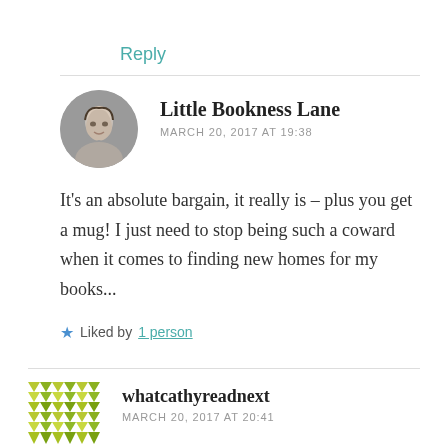Reply
Little Bookness Lane
MARCH 20, 2017 AT 19:38
It's an absolute bargain, it really is – plus you get a mug! I just need to stop being such a coward when it comes to finding new homes for my books...
Liked by 1 person
whatcathyreadnext
MARCH 20, 2017 AT 20:41